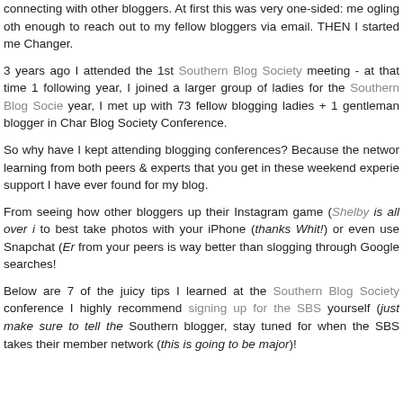connecting with other bloggers. At first this was very one-sided: me ogling oth enough to reach out to my fellow bloggers via email. THEN I started me Changer.
3 years ago I attended the 1st Southern Blog Society meeting - at that time 15 following year, I joined a larger group of ladies for the Southern Blog Socie year, I met up with 73 fellow blogging ladies + 1 gentleman blogger in Char Blog Society Conference.
So why have I kept attending blogging conferences? Because the networ learning from both peers & experts that you get in these weekend experie support I have ever found for my blog.
From seeing how other bloggers up their Instagram game (Shelby is all over i to best take photos with your iPhone (thanks Whit!) or even use Snapchat (Er from your peers is way better than slogging through Google searches!
Below are 7 of the juicy tips I learned at the Southern Blog Society conference I highly recommend signing up for the SBS yourself (just make sure to tell the Southern blogger, stay tuned for when the SBS takes their member network (this is going to be major)!